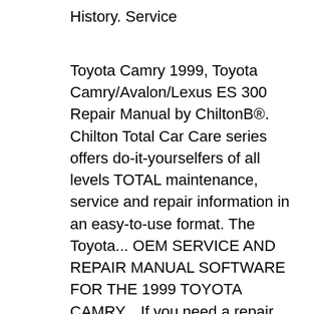History. Service
Toyota Camry 1999, Toyota Camry/Avalon/Lexus ES 300 Repair Manual by ChiltonB®. Chilton Total Car Care series offers do-it-yourselfers of all levels TOTAL maintenance, service and repair information in an easy-to-use format. The Toyota... OEM SERVICE AND REPAIR MANUAL SOFTWARE FOR THE 1999 TOYOTA CAMRY... If you need a repair manual for your Toyota, you've come to the right place. Now you can get your repair manual in a convenient digital format. Old paper repair manuals just don't compare! This downloadable repair manual software covers the Toyota Camry and is perfect for any do-